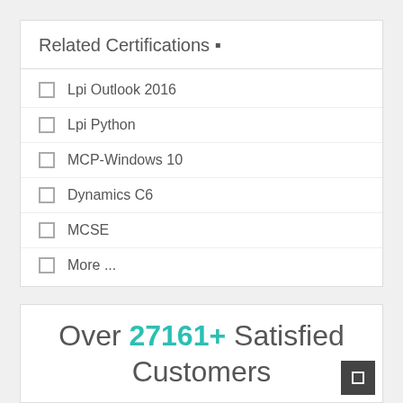Related Certifications ■
Lpi Outlook 2016
Lpi Python
MCP-Windows 10
Dynamics C6
MCSE
More ...
Over 27161+ Satisfied Customers